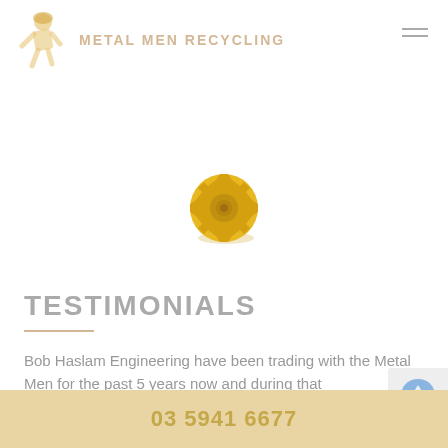METAL MEN RECYCLING
[Figure (logo): Metal Men Recycling logo with a stylized figure holding tools and the company name in gold/tan lettering]
[Figure (illustration): Gold circular gear/settings icon with shadow, centered on page]
TESTIMONIALS
Bob Haslam Engineering have been trading with the Metal Men for the past 5 years now and during that
03 5941 6677